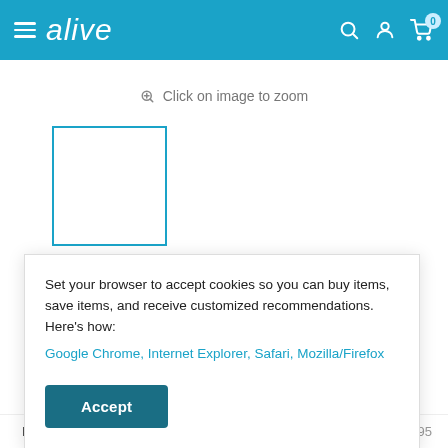alive — navigation bar with hamburger menu, logo, search, account, and cart (0 items)
Click on image to zoom
[Figure (photo): Small thumbnail product image placeholder with blue border]
hhave Rescue Intense Repair
Set your browser to accept cookies so you can buy items, save items, and receive customized recommendations. Here's how:
Google Chrome, Internet Explorer, Safari, Mozilla/Firefox
Accept
Price $40.46  $44.95